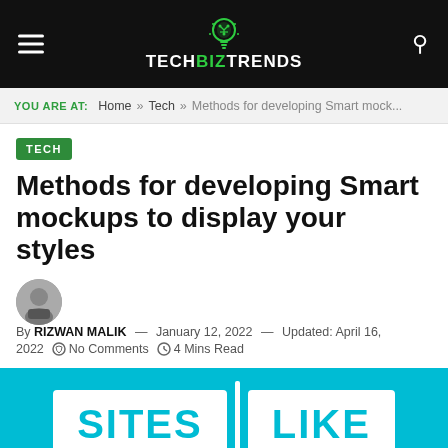TechBizTrends
YOU ARE AT: Home » Tech » Methods for developing Smart mock...
TECH
Methods for developing Smart mockups to display your styles
By RIZWAN MALIK — January 12, 2022 — Updated: April 16, 2022  No Comments  4 Mins Read
[Figure (screenshot): Cyan background image with large bold white text reading 'SITES | LIKE']